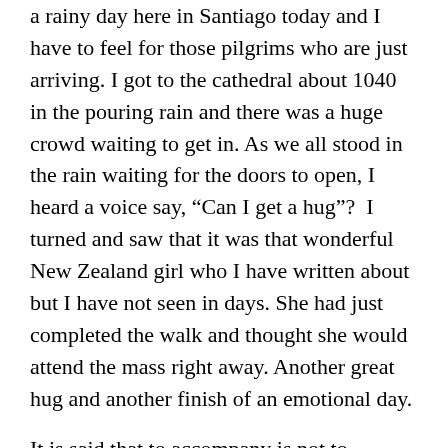a rainy day here in Santiago today and I have to feel for those pilgrims who are just arriving. I got to the cathedral about 1040 in the pouring rain and there was a huge crowd waiting to get in. As we all stood in the rain waiting for the doors to open, I heard a voice say, “Can I get a hug”?  I turned and saw that it was that wonderful New Zealand girl who I have written about but I have not seen in days. She had just completed the walk and thought she would attend the mass right away. Another great hug and another finish of an emotional day.
It is said that...